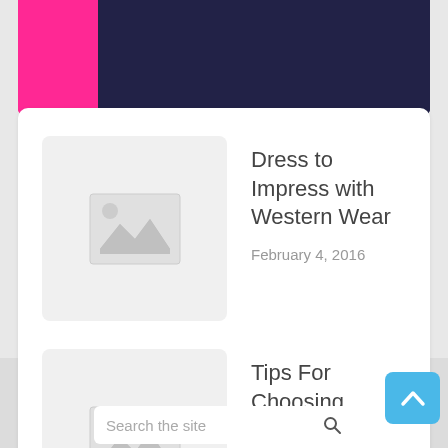[Figure (photo): Partial view of pink and dark navy fabric items on white background]
[Figure (illustration): Placeholder thumbnail image icon (mountains and sun) for blog post]
Dress to Impress with Western Wear
February 4, 2016
[Figure (illustration): Placeholder thumbnail image icon (mountains and sun) for blog post]
Tips For Choosing Gumpaste Cutters
January 28, 2019
Search the site